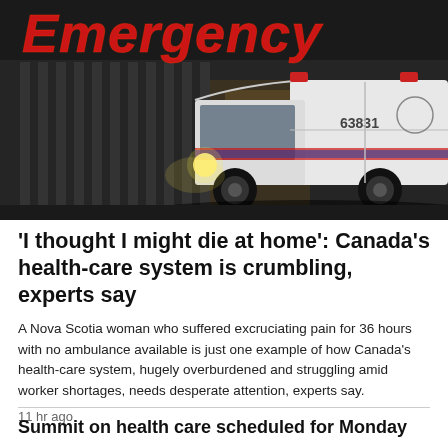[Figure (photo): Ambulance parked outside a hospital emergency entrance at night. A large red illuminated 'Emergency' sign is visible above. The ambulance is white with the number 63831. Dark building facade with vertical elements in background.]
'I thought I might die at home': Canada's health-care system is crumbling, experts say
A Nova Scotia woman who suffered excruciating pain for 36 hours with no ambulance available is just one example of how Canada's health-care system, hugely overburdened and struggling amid worker shortages, needs desperate attention, experts say.
11 hr ago
Summit on health care scheduled for Monday